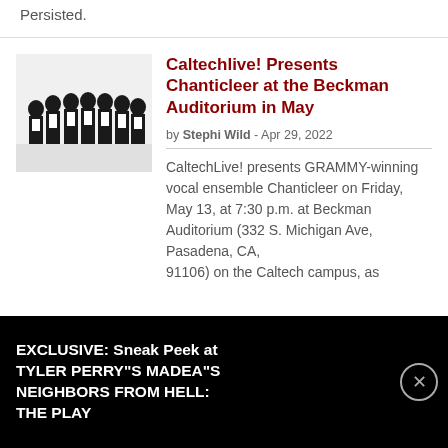Persisted.
[Figure (photo): Group of performers in black formal attire (tuxedos) posing together against a white background]
Caltechlive! Presents Chanticleer at the Beckman Auditorium in May
by Stephi Wild - Apr 29, 2022
CaltechLive! presents GRAMMY-winning vocal ensemble Chanticleer on Friday, May 13, at 7:30 p.m. at Beckman Auditorium (332 S. Michigan Ave, Pasadena, CA, 91106) on the Caltech campus, as
EXCLUSIVE: Sneak Peek at TYLER PERRY"S MADEA"S NEIGHBORS FROM HELL: THE PLAY